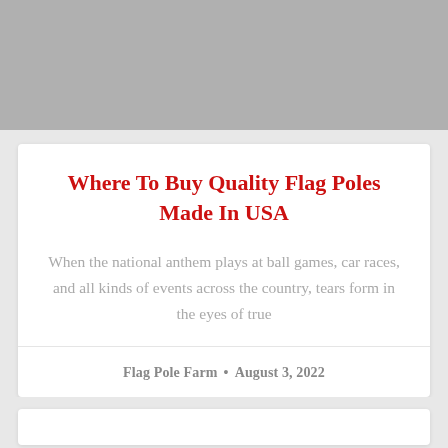[Figure (photo): Gray placeholder image area at the top of the page]
Where To Buy Quality Flag Poles Made In USA
When the national anthem plays at ball games, car races, and all kinds of events across the country, tears form in the eyes of true
Flag Pole Farm · August 3, 2022